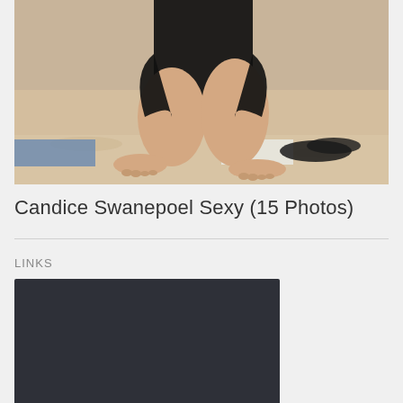[Figure (photo): Cropped beach photo showing person in black swimsuit crouching on sand, with feet and legs visible, flip flops nearby]
Candice Swanepoel Sexy (15 Photos)
LINKS
[Figure (photo): Dark/black rectangular box below LINKS heading]